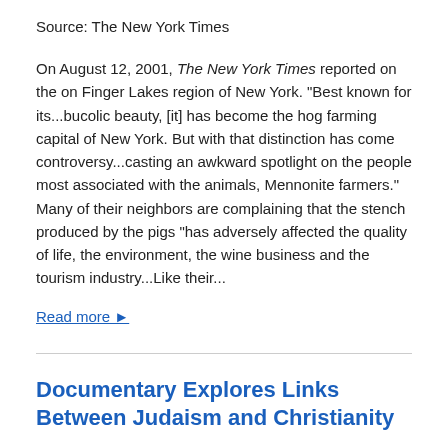Source: The New York Times
On August 12, 2001, The New York Times reported on the on Finger Lakes region of New York. "Best known for its...bucolic beauty, [it] has become the hog farming capital of New York. But with that distinction has come controversy...casting an awkward spotlight on the people most associated with the animals, Mennonite farmers." Many of their neighbors are complaining that the stench produced by the pigs "has adversely affected the quality of life, the environment, the wine business and the tourism industry...Like their...
Read more ▶
Documentary Explores Links Between Judaism and Christianity